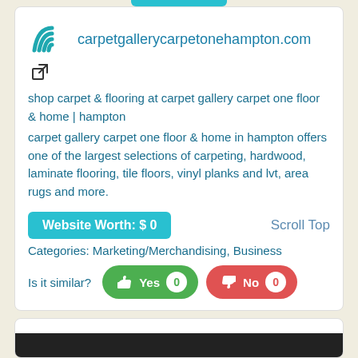[Figure (logo): Teal wifi-like curved lines logo for Carpet One]
carpetgallerycarpetonehampton.com
[Figure (other): External link icon (arrow pointing out of box)]
shop carpet & flooring at carpet gallery carpet one floor & home | hampton
carpet gallery carpet one floor & home in hampton offers one of the largest selections of carpeting, hardwood, laminate flooring, tile floors, vinyl planks and lvt, area rugs and more.
Website Worth: $ 0
Scroll Top
Categories: Marketing/Merchandising, Business
Is it similar?
Yes 0
No 0